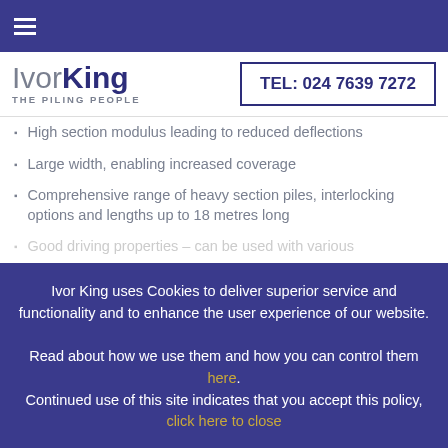≡ (hamburger menu icon)
Ivor King THE PILING PEOPLE — TEL: 024 7639 7272
High section modulus leading to reduced deflections
Large width, enabling increased coverage
Comprehensive range of heavy section piles, interlocking options and lengths up to 18 metres long
Good driving properties – can be used with various
Ivor King uses Cookies to deliver superior service and functionality and to enhance the user experience of our website. Read about how we use them and how you can control them here. Continued use of this site indicates that you accept this policy, click here to close